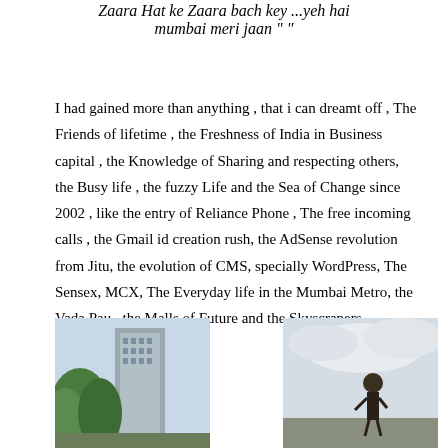Zaara Hat ke Zaara bach key ...yeh hai mumbai meri jaan " "
I had gained more than anything , that i can dreamt off , The Friends of lifetime , the Freshness of India in Business capital , the Knowledge of Sharing and respecting others, the Busy life , the fuzzy Life and the Sea of Change since 2002 , like the entry of Reliance Phone , The free incoming calls , the Gmail id creation rush, the AdSense revolution from Jitu, the evolution of CMS, specially WordPress, The Sensex, MCX, The Everyday life in the Mumbai Metro, the Vada Pau , the Malls of Future and the Skyscrapers......
[Figure (photo): Left photo showing a building and green trees in Mumbai]
[Figure (photo): Right photo showing a person standing outdoors with cloudy sky]